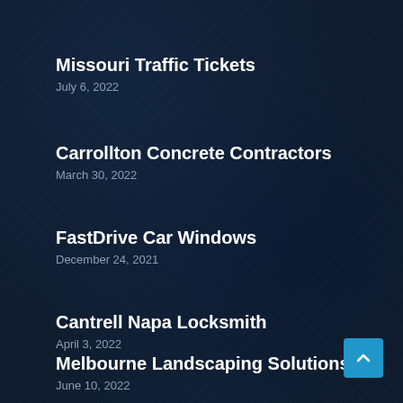Missouri Traffic Tickets
July 6, 2022
Carrollton Concrete Contractors
March 30, 2022
FastDrive Car Windows
December 24, 2021
Cantrell Napa Locksmith
April 3, 2022
Melbourne Landscaping Solutions
June 10, 2022